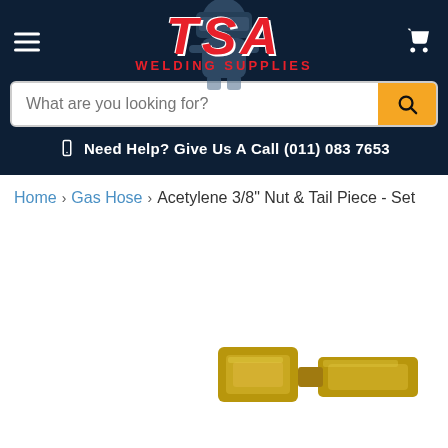[Figure (logo): TSA Welding Supplies logo with welder silhouette, red bold italic TSA text, and red WELDING SUPPLIES subtitle on dark navy background]
What are you looking for?
Need Help? Give Us A Call (011) 083 7653
Home > Gas Hose > Acetylene 3/8" Nut & Tail Piece - Set
[Figure (photo): Partial view of brass acetylene nut and tail piece fitting at the bottom of the page]